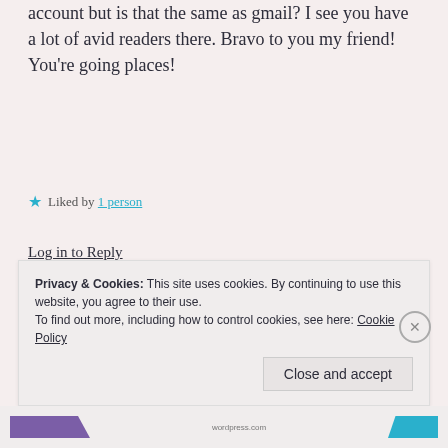account but is that the same as gmail? I see you have a lot of avid readers there. Bravo to you my friend! You're going places!
Liked by 1 person
Log in to Reply
WeaverGrace
December 1, 2014 at 3:52 am
Privacy & Cookies: This site uses cookies. By continuing to use this website, you agree to their use.
To find out more, including how to control cookies, see here: Cookie Policy
Close and accept